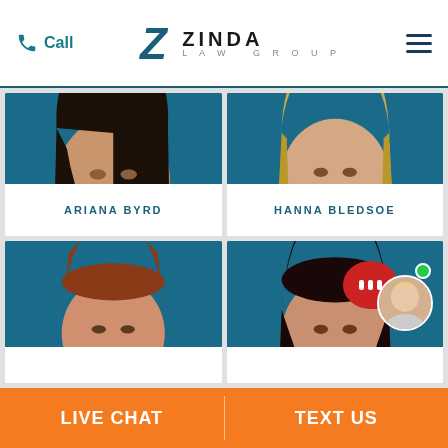Call | ZINDA LAW GROUP
[Figure (photo): Professional headshot of Ariana Byrd against teal background, dark hair, navy top]
ARIANA BYRD
[Figure (photo): Professional headshot of Hanna Bledsoe against teal background, blonde hair, gray blazer]
HANNA BLEDSOE
[Figure (photo): Professional headshot of male attorney against teal background, red/auburn hair]
[Figure (photo): Professional headshot of female attorney against teal background, dark hair, red lips]
LIVE CHAT | TEXT US